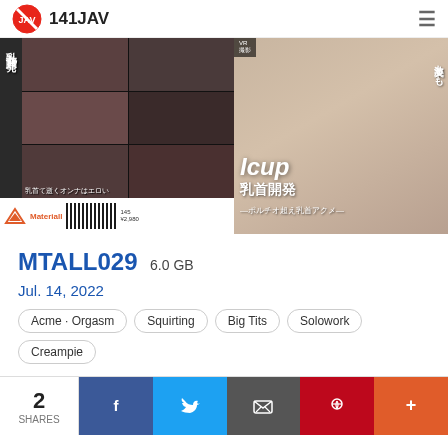141JAV
[Figure (photo): JAV product cover image for MTALL029, showing DVD cover art with Japanese text including 乳首開発 (nipple development) and performer 美波もも (Minami Momo). Left side shows collage of scenes, right side shows product cover with Icup text. Bottom strip shows Materiall publisher logo and barcode. Price ¥2,980.]
MTALL029 6.0 GB
Jul. 14, 2022
Acme · Orgasm
Squirting
Big Tits
Solowork
Creampie
2 SHARES